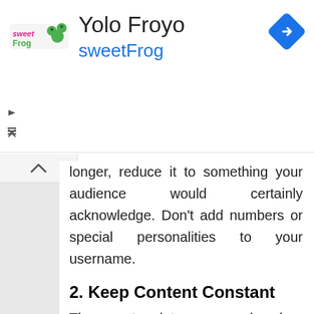[Figure (screenshot): Ad banner for Yolo Froyo / sweetFrog with logo, title, subtitle and navigation icon]
longer, reduce it to something your audience would certainly acknowledge. Don't add numbers or special personalities to your username.
2. Keep Content Constant
The worst point you can do when trying to obtain fans on Instagram is to off-and-on post web content. If you're fortunate sufficient to get individuals following you initially, the last thing you intend to do is make them forget they followed you